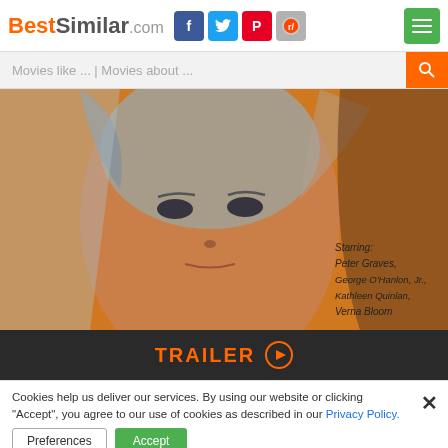BestSimilar.com — with Facebook, Twitter, Pinterest, Reddit social icons and menu button
Movies like ... | Movies about ...
[Figure (photo): Movie poster on orange background showing an illustrated face of an older man with white hair. Text on poster reads: Starring: Peter Graves, George O'Hanlon, Jr., Kathleen Quinlan, Verna Bloom]
TRAILER ▶
Cookies help us deliver our services. By using our website or clicking "Accept", you agree to our use of cookies as described in our Privacy Policy.
Preferences   Accept
Duration: 74 min